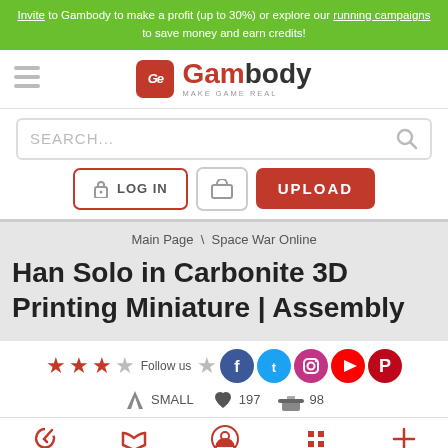Invite to Gambody to make a profit (up to 30%) or explore our running campaigns to save money and earn credits!
[Figure (logo): Gambody logo with 'Ge' icon in red square and text 'Gambody - MAKE GAME REAL']
SEARCH...
LOG IN
UPLOAD
Main Page \ Space War Online
Han Solo in Carbonite 3D Printing Miniature | Assembly
Follow us
SMALL  197  98